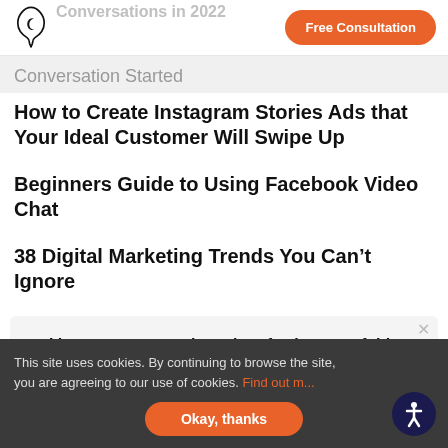Conversations in 2022
[Figure (logo): Single Grain flame/leaf drop logo in black outline]
Free Consultation
Conversation Started
How to Create Instagram Stories Ads that Your Ideal Customer Will Swipe Up
Beginners Guide to Using Facebook Video Chat
38 Digital Marketing Trends You Can't Ignore
I hope you are getting a lot of value out of this blog post.
Do you want to learn more about this topic? Schedule a Free Consultation call with a Single Grain Expert now!
This site uses cookies. By continuing to browse the site, you are agreeing to our use of cookies. Find out m... Okay, thanks